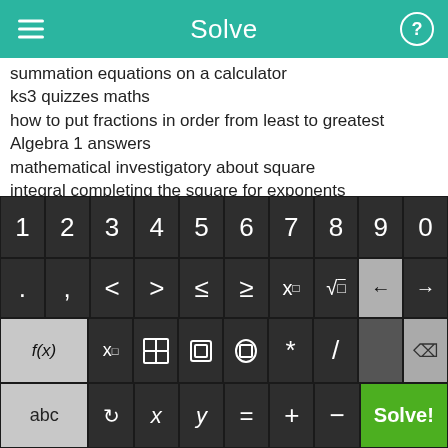Solve
summation equations on a calculator
ks3 quizzes maths
how to put fractions in order from least to greatest
Algebra 1 answers
mathematical investigatory about square
integral completing the square for exponents
sample problem of algebra
calculating gcf in c++
how to convert decimals into radicals
MATHPOWER NINE
[Figure (screenshot): Mobile math calculator keyboard with numeric keys 0-9, operator symbols (<, >, ≤, ≥, x^□, √), function keys (f(x), x_□, fraction, absolute value, parentheses, *, /), letter keys (abc, x, y, =, +, -), and a green Solve! button.]